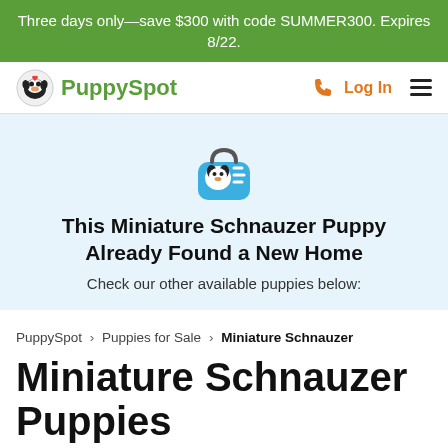Three days only—save $300 with code SUMMER300. Expires 8/22.
PuppySpot | Log In
[Figure (illustration): Puppy in a blue pet carrier icon]
This Miniature Schnauzer Puppy Already Found a New Home
Check our other available puppies below:
PuppySpot > Puppies for Sale > Miniature Schnauzer
Miniature Schnauzer Puppies